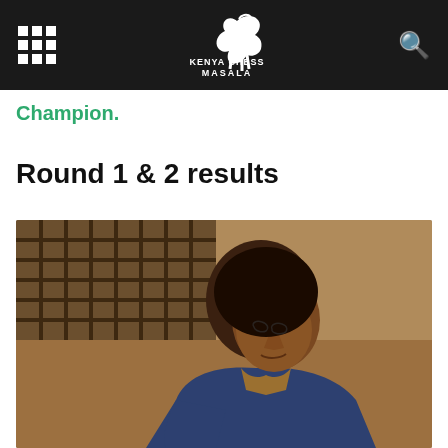Kenya Chess Masala
Champion.
Round 1 & 2 results
[Figure (photo): A man in a blue blazer leaning forward over a chess table, appearing deep in thought. Background shows a wooden lattice structure. Indoor lighting with warm tones.]